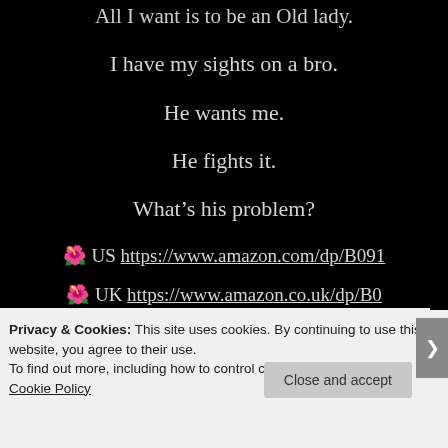All I want is to be an Old lady.
I have my sights on a bro.
He wants me.
He fights it.
What’s his problem?
.🌺 US https://www.amazon.com/dp/B091
.🌺 UK https://www.amazon.co.uk/dp/B0
Privacy & Cookies: This site uses cookies. By continuing to use this website, you agree to their use.
To find out more, including how to control cookies, see here:
Cookie Policy